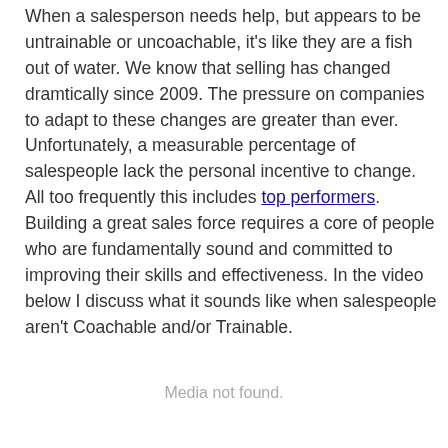When a salesperson needs help, but appears to be untrainable or uncoachable, it's like they are a fish out of water. We know that selling has changed dramtically since 2009. The pressure on companies to adapt to these changes are greater than ever. Unfortunately, a measurable percentage of salespeople lack the personal incentive to change. All too frequently this includes top performers. Building a great sales force requires a core of people who are fundamentally sound and committed to improving their skills and effectiveness. In the video below I discuss what it sounds like when salespeople aren't Coachable and/or Trainable.
Media not found.